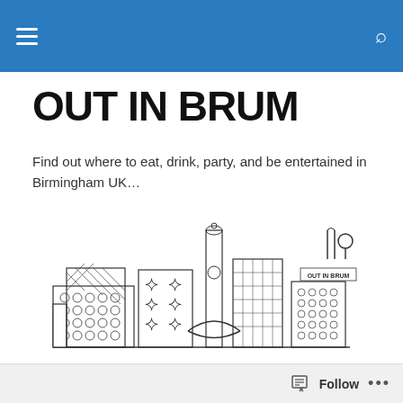OUT IN BRUM – navigation header
OUT IN BRUM
Find out where to eat, drink, party, and be entertained in Birmingham UK…
[Figure (illustration): Line art illustration of Birmingham city skyline including the Selfridges building, Rotunda tower, and other landmarks with 'OUT IN BRUM' logo and cutlery icon]
POSTED IN PRICE: CHEAP AS CHIPS – INEXPENSIVE
Brewer's Social: Harborne
Follow